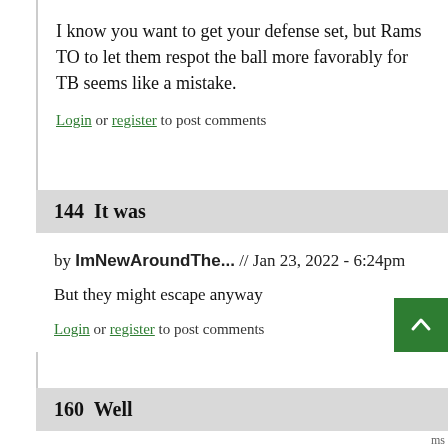I know you want to get your defense set, but Rams TO to let them respot the ball more favorably for TB seems like a mistake.
Login or register to post comments
144  It was
by ImNewAroundThe... // Jan 23, 2022 - 6:24pm
But they might escape anyway
Login or register to post comments
160  Well